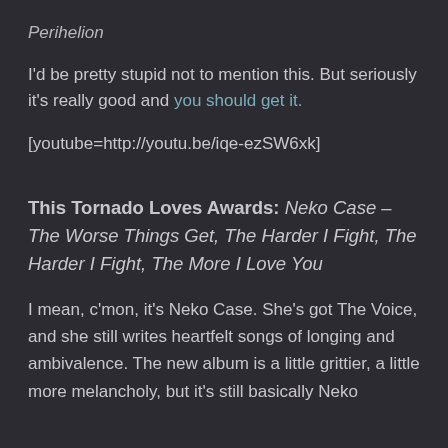Perihelion
I'd be pretty stupid not to mention this.  But seriously it's really good and you should get it.
[youtube=http://youtu.be/iqe-ezSW6xk]
This Tornado Loves Awards: Neko Case – The Worse Things Get, The Harder I Fight, The Harder I Fight, The More I Love You
I mean, c'mon, it's Neko Case.  She's got The Voice, and she still writes heartfelt songs of longing and ambivalence.  The new album is a little grittier, a little more melancholy, but it's still basically Neko